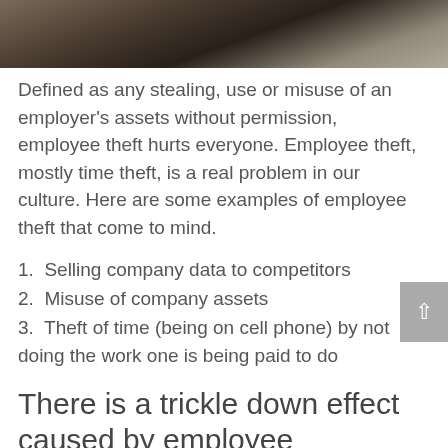[Figure (photo): Partial photo of a dark interior scene, cropped at the top of the page]
Defined as any stealing, use or misuse of an employer's assets without permission, employee theft hurts everyone. Employee theft, mostly time theft, is a real problem in our culture. Here are some examples of employee theft that come to mind.
1.  Selling company data to competitors
2.  Misuse of company assets
3.  Theft of time (being on cell phone) by not doing the work one is being paid to do
There is a trickle down effect caused by employee